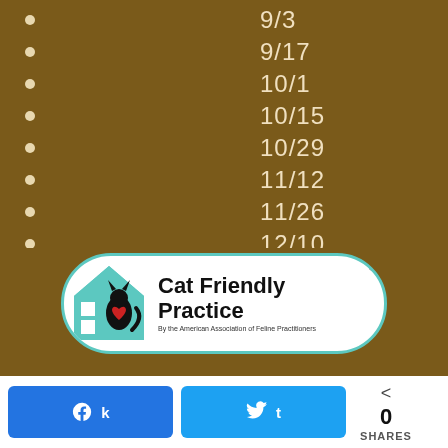9/3
9/17
10/1
10/15
10/29
11/12
11/26
12/10
12/24
[Figure (logo): Cat Friendly Practice logo by the American Association of Feline Practitioners — teal house outline with black cat silhouette and red heart, text reads 'Cat Friendly Practice']
k SHARES  t  < 0 SHARES